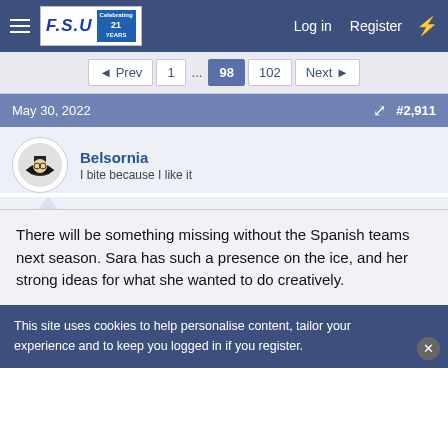FSU forum navigation bar with Log in and Register links
◄ Prev  1  ...  98  102  Next ►
May 30, 2022  #2,911
Belsornia
I bite because I like it
There will be something missing without the Spanish teams next season. Sara has such a presence on the ice, and her strong ideas for what she wanted to do creatively.
I think another season for UK was always a long shot, even...
This site uses cookies to help personalise content, tailor your experience and to keep you logged in if you register.